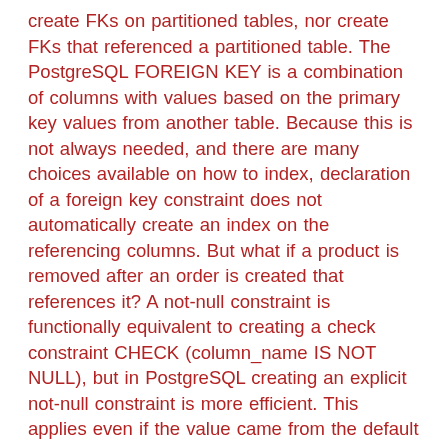create FKs on partitioned tables, nor create FKs that referenced a partitioned table. The PostgreSQL FOREIGN KEY is a combination of columns with values based on the primary key values from another table. Because this is not always needed, and there are many choices available on how to index, declaration of a foreign key constraint does not automatically create an index on the referencing columns. But what if a product is removed after an order is created that references it? A not-null constraint is functionally equivalent to creating a check constraint CHECK (column_name IS NOT NULL), but in PostgreSQL creating an explicit not-null constraint is more efficient. This applies even if the value came from the default value definition. In PostgreSQL, you define a foreign key using the foreign key constraint. A foreign key constraint specifies that the values in a column (or a group of columns) must match the values appearing in some row of another table. Since a DELETE of a row from the referenced table or an UPDATE of a referenced column will require a scan of the referencing table for rows matching the old value, it is often a good idea to index the referencing columns too. First, we are creating employee1 table and creating a primary key on emp_id table. If you